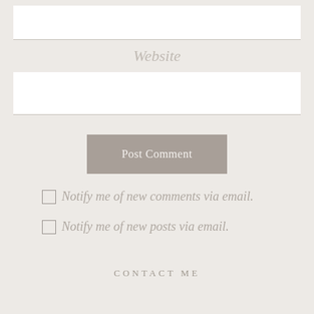[Figure (screenshot): A white input field for URL/website entry, bordered at the bottom]
Website
[Figure (screenshot): A white input field, bordered at the bottom]
Post Comment
Notify me of new comments via email.
Notify me of new posts via email.
CONTACT ME